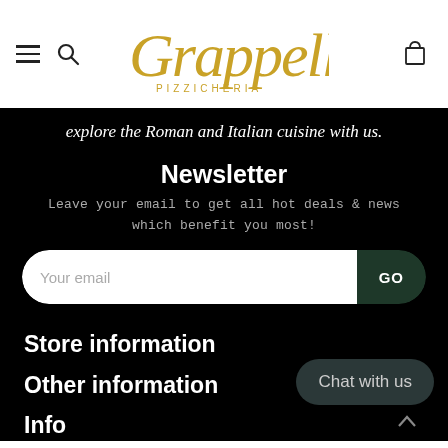[Figure (logo): Grappelli Pizzicheria logo in gold italic script with PIZZICHERIA text below]
explore the Roman and Italian cuisine with us.
Newsletter
Leave your email to get all hot deals & news which benefit you most!
Your email [input field] GO [button]
Store information
Other information
Info